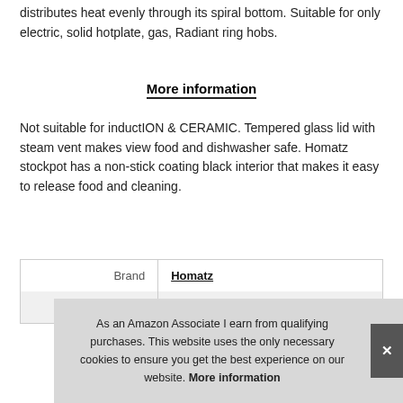distributes heat evenly through its spiral bottom. Suitable for only electric, solid hotplate, gas, Radiant ring hobs.
More information
Not suitable for inductION & CERAMIC. Tempered glass lid with steam vent makes view food and dishwasher safe. Homatz stockpot has a non-stick coating black interior that makes it easy to release food and cleaning.
|  |  |
| --- | --- |
| Brand | Homatz |
| Manufacturer | Homatz |
As an Amazon Associate I earn from qualifying purchases. This website uses the only necessary cookies to ensure you get the best experience on our website. More information